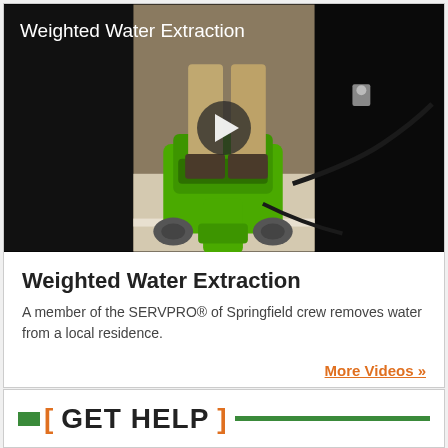[Figure (screenshot): Video thumbnail showing a SERVPRO technician using a green weighted water extraction machine on carpet. Title text 'Weighted Water Extraction' appears in white at top left. A play button is visible in the center.]
Weighted Water Extraction
A member of the SERVPRO® of Springfield crew removes water from a local residence.
More Videos »
[ GET HELP ]